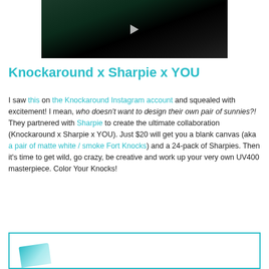[Figure (photo): Dark video thumbnail showing a person with colorful hair accessories, mostly black with teal/green tones, with a play button overlay]
Knockaround x Sharpie x YOU
I saw this on the Knockaround Instagram account and squealed with excitement! I mean, who doesn't want to design their own pair of sunnies?! They partnered with Sharpie to create the ultimate collaboration (Knockaround x Sharpie x YOU). Just $20 will get you a blank canvas (aka a pair of matte white / smoke Fort Knocks) and a 24-pack of Sharpies. Then it's time to get wild, go crazy, be creative and work up your very own UV400 masterpiece. Color Your Knocks!
[Figure (photo): Partial image at bottom of page showing what appears to be a Sharpie marker, with a teal border box]